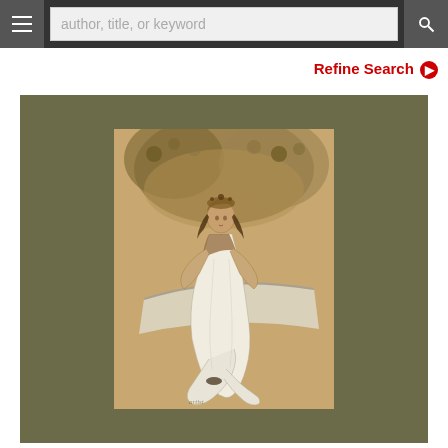author, title, or keyword
Refine Search
[Figure (illustration): A decorative illustration mounted on an olive/khaki green mat board. The inner image shows a woman in flowing white robes and ornate headpiece, seated near what appears to be a stone ledge or boat edge, surrounded by an intricate floral/foliage background in warm golden-brown tones. The style appears to be Art Nouveau or early 20th century book illustration.]